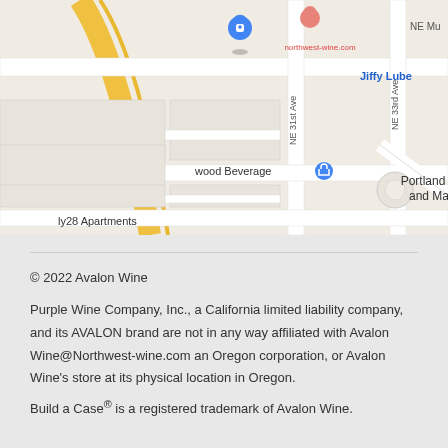[Figure (map): Google Maps screenshot showing streets around NE 31st Ave and NE 33rd Ave in Portland Oregon. Visible labels include Jiffy Lube, wood Beverage (Kenwood Beverage), portland Roll and Mass, ly28 Apartments, NE Hollad, NE Mu. A blue location pin is visible near northwest-wine.com. Yellow road visible in upper left.]
© 2022 Avalon Wine
Purple Wine Company, Inc., a California limited liability company, and its AVALON brand are not in any way affiliated with Avalon Wine@Northwest-wine.com an Oregon corporation, or Avalon Wine's store at its physical location in Oregon.
Build a Case® is a registered trademark of Avalon Wine.